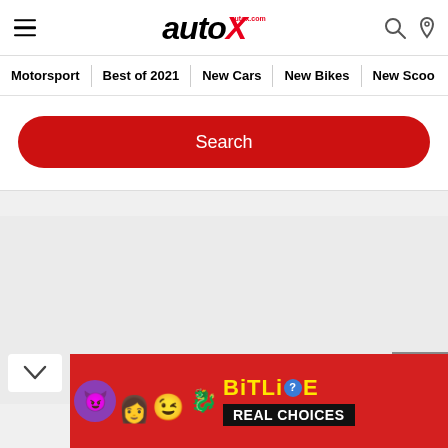autoX — Motorsport | Best of 2021 | New Cars | New Bikes | New Scoo...
[Figure (screenshot): autoX website header with hamburger menu, autoX logo, search and location icons, navigation bar with Motorsport, Best of 2021, New Cars, New Bikes, New Scoo... tabs, a red Search button, and a BitLife ad banner at the bottom.]